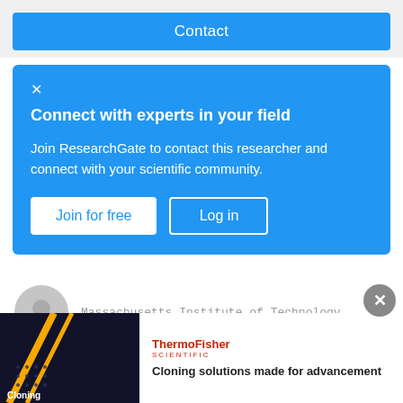Contact
Connect with experts in your field
Join ResearchGate to contact this researcher and connect with your scientific community.
Join for free   Log in
Massachusetts Institute of Technology
Ali Akbar Shirzadi Javid
Iran University of Science and Technology
Masoud Ziabasharhagh
[Figure (screenshot): ThermoFisher Scientific advertisement with text: Cloning solutions made for advancement]